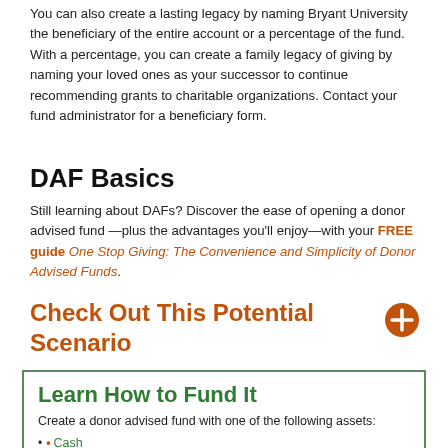You can also create a lasting legacy by naming Bryant University the beneficiary of the entire account or a percentage of the fund. With a percentage, you can create a family legacy of giving by naming your loved ones as your successor to continue recommending grants to charitable organizations. Contact your fund administrator for a beneficiary form.
DAF Basics
Still learning about DAFs? Discover the ease of opening a donor advised fund—plus the advantages you'll enjoy—with your FREE guide One Stop Giving: The Convenience and Simplicity of Donor Advised Funds.
Check Out This Potential Scenario
Learn How to Fund It
Create a donor advised fund with one of the following assets:
• Cash
• Appreciated Securities
• Retirement Plan Assets